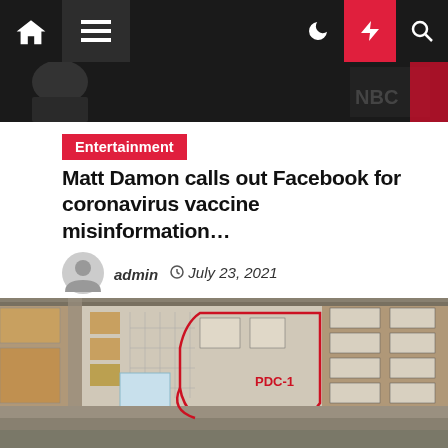Navigation bar with home, menu, moon, lightning, and search icons
[Figure (photo): Dark header image strip — appears to be a partial movie or entertainment photo on black background with NBC logo partially visible]
Entertainment
Matt Damon calls out Facebook for coronavirus vaccine misinformation…
admin  July 23, 2021
[Figure (map): Aerial/satellite map overlay with architectural site plan showing parking lots, buildings, and roads. Red outline marking a zone labeled PDC-1. Blue water area in bottom right corner.]